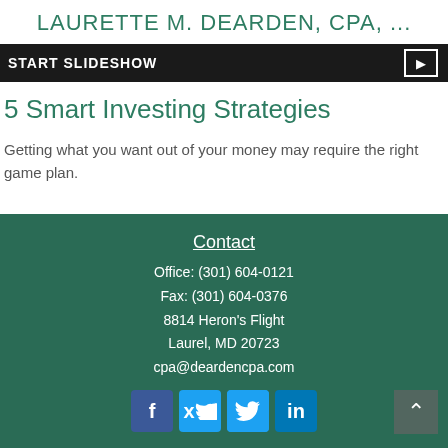LAURETTE M. DEARDEN, CPA, ...
[Figure (screenshot): Dark slideshow banner with 'START SLIDESHOW' text and a play button icon on the right]
5 Smart Investing Strategies
Getting what you want out of your money may require the right game plan.
Contact
Office: (301) 604-0121
Fax: (301) 604-0376
8814 Heron's Flight
Laurel, MD 20723
cpa@deardencpa.com